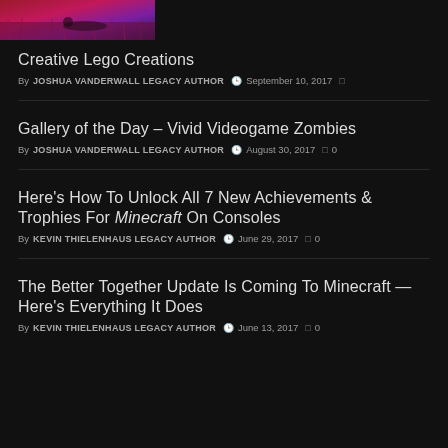[Figure (photo): Partial top image showing a dark purple/pink field with a figure lying down]
Creative Lego Creations
By JOSHUA VANDERWALL LEGACY AUTHOR  September 10, 2017  [comment icon]
Gallery of the Day – Vivid Videogame Zombies
By JOSHUA VANDERWALL LEGACY AUTHOR  August 30, 2017  [comment icon] 0
Here's How To Unlock All 7 New Achievements & Trophies For Minecraft On Consoles
By KEVIN THIELENHAUS LEGACY AUTHOR  June 29, 2017  [comment icon] 0
The Better Together Update Is Coming To Minecraft — Here's Everything It Does
By KEVIN THIELENHAUS LEGACY AUTHOR  June 13, 2017  [comment icon] 0